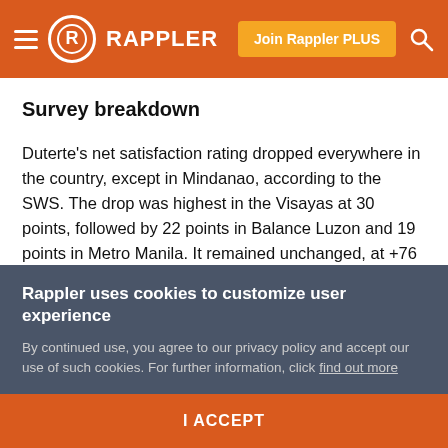Rappler
Survey breakdown
Duterte's net satisfaction rating dropped everywhere in the country, except in Mindanao, according to the SWS. The drop was highest in the Visayas at 30 points, followed by 22 points in Balance Luzon and 19 points in Metro Manila. It remained unchanged, at +76 or "excellent" in Mindanao, where Duterte comes from. He was Davao City mayor for nearly two decades.
Rappler uses cookies to customize user experience
By continued use, you agree to our privacy policy and accept our use of such cookies. For further information, click find out more
I ACCEPT